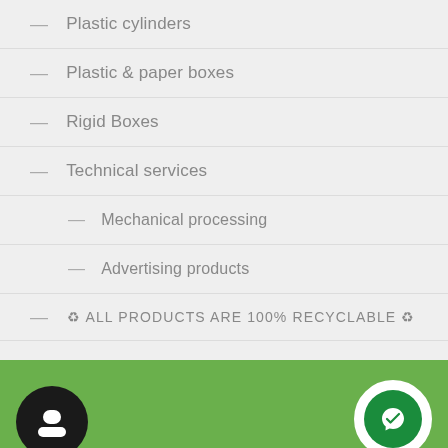Plastic cylinders
Plastic & paper boxes
Rigid Boxes
Technical services
Mechanical processing
Advertising products
♻ ALL PRODUCTS ARE 100% RECYCLABLE ♻
[Figure (illustration): Black circle icon with a person/user silhouette, and a green circle icon with a Messenger chat icon, displayed on a green footer bar.]